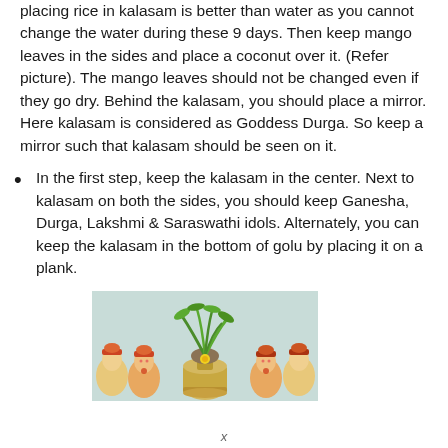placing rice in kalasam is better than water as you cannot change the water during these 9 days. Then keep mango leaves in the sides and place a coconut over it. (Refer picture). The mango leaves should not be changed even if they go dry. Behind the kalasam, you should place a mirror. Here kalasam is considered as Goddess Durga. So keep a mirror such that kalasam should be seen on it.
In the first step, keep the kalasam in the center. Next to kalasam on both the sides, you should keep Ganesha, Durga, Lakshmi & Saraswathi idols. Alternately, you can keep the kalasam in the bottom of golu by placing it on a plank.
[Figure (photo): Photo showing colorful Hindu deity idols (Ganesha, Durga, Lakshmi, Saraswathi) arranged around a kalasam pot with mango leaves and a coconut on top, against a light teal background.]